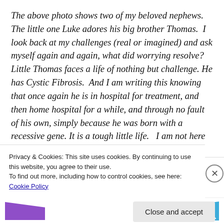The above photo shows two of my beloved nephews. The little one Luke adores his big brother Thomas. I look back at my challenges (real or imagined) and ask myself again and again, what did worrying resolve? Little Thomas faces a life of nothing but challenge. He has Cystic Fibrosis. And I am writing this knowing that once again he is in hospital for treatment, and then home hospital for a while, and through no fault of his own, simply because he was born with a recessive gene. It is a tough little life. I am not here to speak about his illness, I am here thinking about the beautiful, inspiring...
Privacy & Cookies: This site uses cookies. By continuing to use this website, you agree to their use.
To find out more, including how to control cookies, see here: Cookie Policy
Close and accept